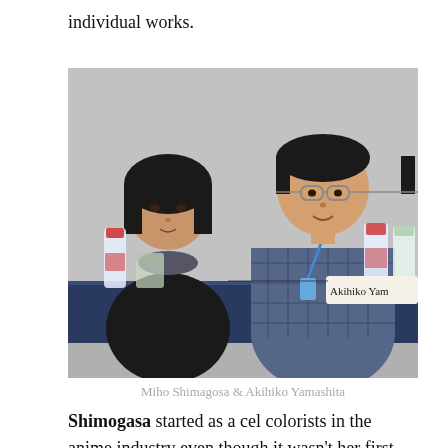individual works.
[Figure (photo): Photo of Miho Shimagosa and Akihiko Yamashita seated at a panel table. A woman in a black jacket is on the left and a man in a checked shirt wearing glasses and a blue lanyard is on the right. A name placard reading 'Akihiko Yam' is partially visible. Water bottles and cups are on the table.]
Miho Shimagosa & Akihiko Yamashita
Shimogasa started as a cel colorists in the anime industry even though it wasn't her first choice of work – but she wanted to be in the business "no